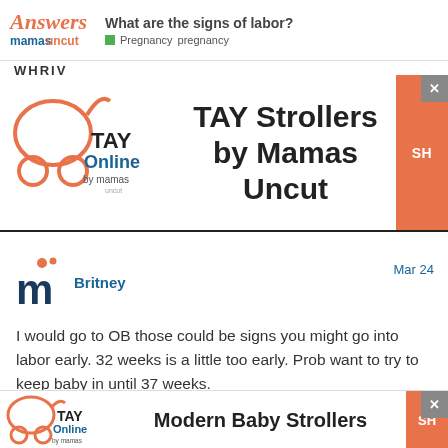What are the signs of labor? Pregnancy pregnancy
[Figure (screenshot): TAY Online by mamas stroller logo advertisement for TAY Strollers by Mamas Uncut]
WHRIV
Britney — Mar 24
I would go to OB those could be signs you might go into labor early. 32 weeks is a little too early. Prob want to try to keep baby in until 37 weeks.
[Figure (screenshot): TAY Online by mamas stroller logo advertisement for Modern Baby Strollers]